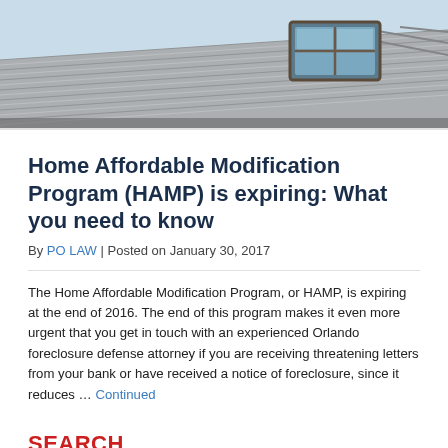[Figure (photo): Rooftop of a house with metal corrugated roof panels and a skylight window visible against a light sky background]
Home Affordable Modification Program (HAMP) is expiring: What you need to know
By PO LAW | Posted on January 30, 2017
The Home Affordable Modification Program, or HAMP, is expiring at the end of 2016. The end of this program makes it even more urgent that you get in touch with an experienced Orlando foreclosure defense attorney if you are receiving threatening letters from your bank or have received a notice of foreclosure, since it reduces … Continued
SEARCH